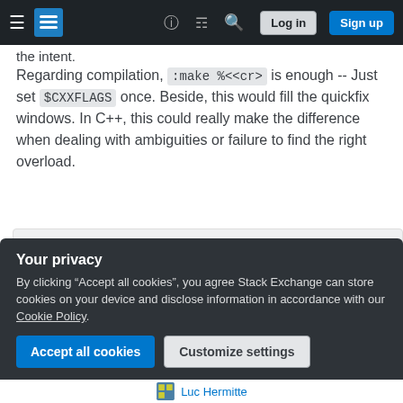Stack Exchange navigation bar with hamburger menu, logo, help, chat, search, Log in, Sign up buttons
the intent.
Regarding compilation, :make %<<cr> is enough -- Just set $CXXFLAGS once. Beside, this would fill the quickfix windows. In C++, this could really make the difference when dealing with ambiguities or failure to find the right overload.
let $CXXFLAGS = '-std=c++20 -Wall -Wextra -
nnoremap <silent> <f7>    :<c-u>w<cr>:make %
nnoremap <silent> <c-f5> :<c-u>vert term ./
nnoremap <silent> <f11>   :<c-u>cprev<cr>
nnoremap <silent> <f12>   :<c-u>cnext<cr>
Your privacy
By clicking "Accept all cookies", you agree Stack Exchange can store cookies on your device and disclose information in accordance with our Cookie Policy.
Accept all cookies   Customize settings
Luc Hermitte